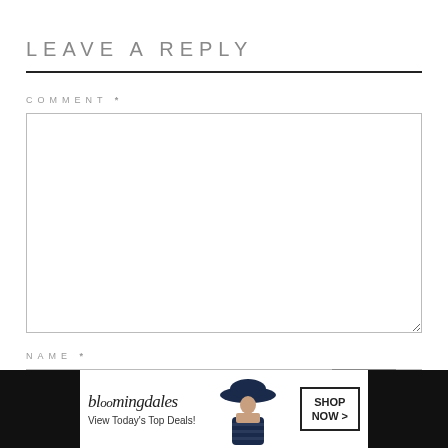LEAVE A REPLY
COMMENT *
NAME *
[Figure (screenshot): Bloomingdale's advertisement banner with text 'View Today's Top Deals!' and 'SHOP NOW >' button, showing a woman wearing a wide-brim hat]